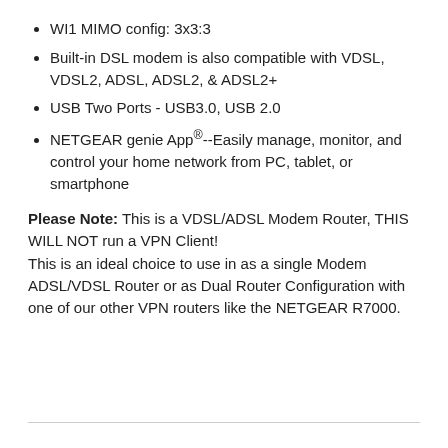WI1 MIMO config: 3x3:3
Built-in DSL modem is also compatible with VDSL, VDSL2, ADSL, ADSL2, & ADSL2+
USB Two Ports - USB3.0, USB 2.0
NETGEAR genie App®--Easily manage, monitor, and control your home network from PC, tablet, or smartphone
Please Note: This is a VDSL/ADSL Modem Router, THIS WILL NOT run a VPN Client! This is an ideal choice to use in as a single Modem ADSL/VDSL Router or as Dual Router Configuration with one of our other VPN routers like the NETGEAR R7000.